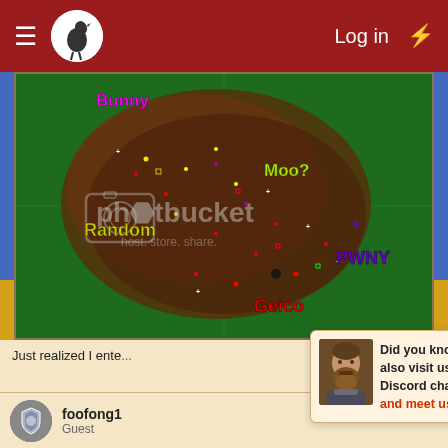Log in
[Figure (screenshot): Game map screenshot showing a strategy game world map with colored territory labels: Bunny (magenta, top left), Random (yellow, center left), Moo? (yellow-green, center), PWNY (purple, right), Geico (red, bottom center). A Photobucket watermark overlays the image.]
Just realized I ente...
[Figure (photo): Avatar of a bearded warrior/medieval character]
Did you know you can also visit us on our Discord chat? Come and meet us!
foofong1
Guest